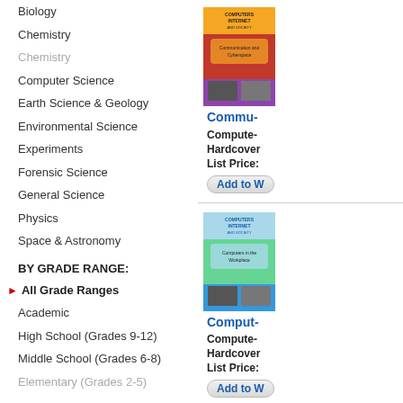Biology
Chemistry
Chemistry (disabled)
Computer Science
Earth Science & Geology
Environmental Science
Experiments
Forensic Science
General Science
Physics
Space & Astronomy
BY GRADE RANGE:
All Grade Ranges
Academic
High School (Grades 9-12)
Middle School (Grades 6-8)
Elementary (Grades 2-5)
BY IMPRINT:
All Imprints
Bloom's Literary Criticism
[Figure (illustration): Book cover: Computers Internet and Society - Communication and Cyberspace]
Commu...
Computer... Hardcover List Price:
Add to W
[Figure (illustration): Book cover: Computers Internet and Society - Computers in the Workplace]
Comput...
Computer... Hardcover List Price:
Add to W
[Figure (illustration): Book cover: Computers Internet and Society - Privacy, Security and Cyberspace]
Privacy,...
Computer... Hardcover List Price:
Add to W